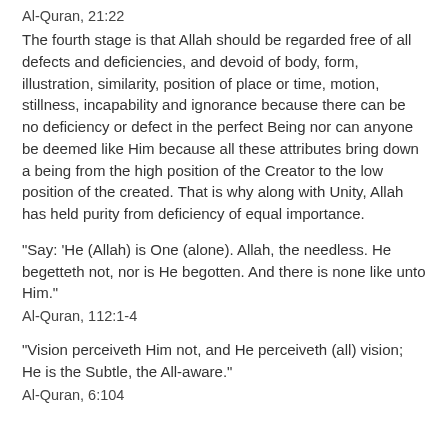Al-Quran, 21:22
The fourth stage is that Allah should be regarded free of all defects and deficiencies, and devoid of body, form, illustration, similarity, position of place or time, motion, stillness, incapability and ignorance because there can be no deficiency or defect in the perfect Being nor can anyone be deemed like Him because all these attributes bring down a being from the high position of the Creator to the low position of the created. That is why along with Unity, Allah has held purity from deficiency of equal importance.
"Say: 'He (Allah) is One (alone). Allah, the needless. He begetteth not, nor is He begotten. And there is none like unto Him."
Al-Quran, 112:1-4
"Vision perceiveth Him not, and He perceiveth (all) vision; He is the Subtle, the All-aware."
Al-Quran, 6:104